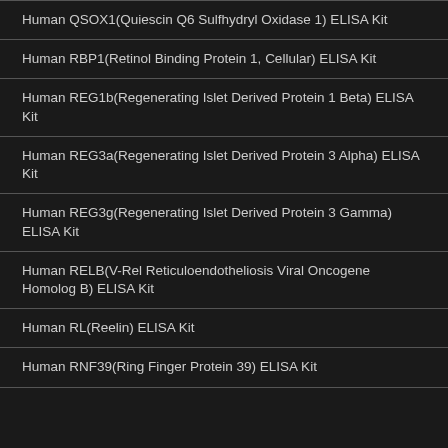Human QSOX1(Quiescin Q6 Sulfhydryl Oxidase 1) ELISA Kit
Human RBP1(Retinol Binding Protein 1, Cellular) ELISA Kit
Human REG1b(Regenerating Islet Derived Protein 1 Beta) ELISA Kit
Human REG3a(Regenerating Islet Derived Protein 3 Alpha) ELISA Kit
Human REG3g(Regenerating Islet Derived Protein 3 Gamma) ELISA Kit
Human RELB(V-Rel Reticuloendotheliosis Viral Oncogene Homolog B) ELISA Kit
Human RL(Reelin) ELISA Kit
Human RNF39(Ring Finger Protein 39) ELISA Kit